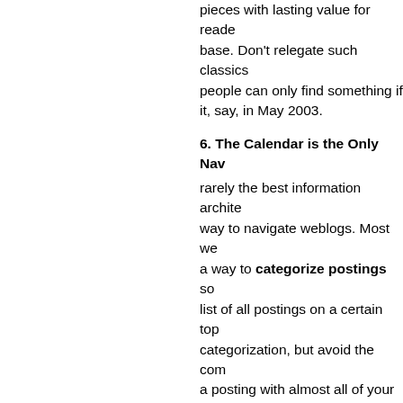pieces with lasting value for readers base. Don't relegate such classics people can only find something if it, say, in May 2003.
6. The Calendar is the Only Nav
rarely the best information archite way to navigate weblogs. Most we a way to categorize postings so list of all postings on a certain top categorization, but avoid the com a posting with almost all of your c Decide on a few places where a p
7. Irregular Publishing Frequen
meeting user expectations is one principles of Web usability. For a w able to anticipate when and how c
For most weblogs, daily updates a weekly or even monthly updates m depending on your topic. In either publication schedule and stick t daily but sometimes let months go content, you'll lose many of your